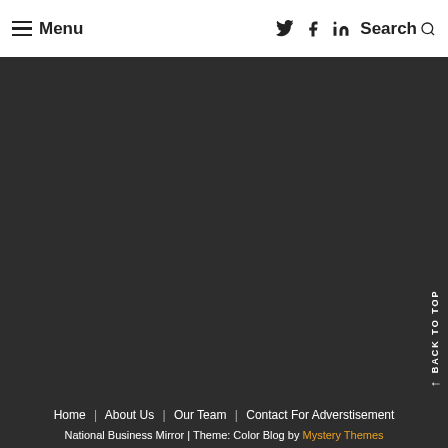☰ Menu  Twitter  Facebook  LinkedIn  Search
[Figure (other): Dark background content area, mostly empty]
Back TO Top ↑
Home | About Us | Our Team | Contact For Adverstisement
National Business Mirror | Theme: Color Blog by Mystery Themes